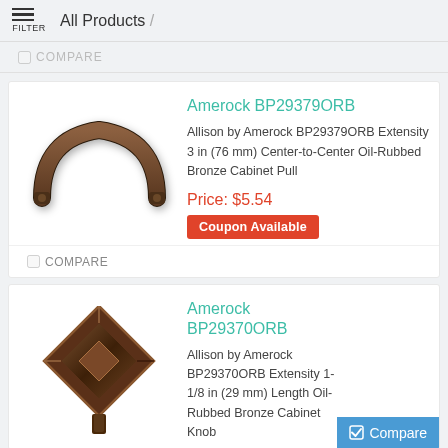All Products /
COMPARE
Amerock BP29379ORB
Allison by Amerock BP29379ORB Extensity 3 in (76 mm) Center-to-Center Oil-Rubbed Bronze Cabinet Pull
Price: $5.54
Coupon Available
COMPARE
Amerock BP29370ORB
Allison by Amerock BP29370ORB Extensity 1-1/8 in (29 mm) Length Oil-Rubbed Bronze Cabinet Knob
Compare